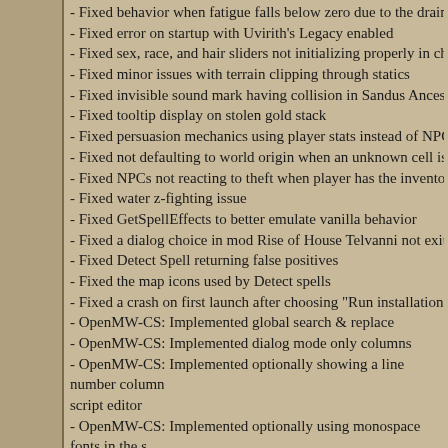- Fixed behavior when fatigue falls below zero due to the drain effect
- Fixed error on startup with Uvirith's Legacy enabled
- Fixed sex, race, and hair sliders not initializing properly in chargen
- Fixed minor issues with terrain clipping through statics
- Fixed invisible sound mark having collision in Sandus Ancestral Tomb
- Fixed tooltip display on stolen gold stack
- Fixed persuasion mechanics using player stats instead of NPC's
- Fixed not defaulting to world origin when an unknown cell is encountered
- Fixed NPCs not reacting to theft when player has the inventory open
- Fixed water z-fighting issue
- Fixed GetSpellEffects to better emulate vanilla behavior
- Fixed a dialog choice in mod Rise of House Telvanni not exiting out of
- Fixed Detect Spell returning false positives
- Fixed the map icons used by Detect spells
- Fixed a crash on first launch after choosing "Run installation wizard"
- OpenMW-CS: Implemented global search & replace
- OpenMW-CS: Implemented dialog mode only columns
- OpenMW-CS: Implemented optionally showing a line number column script editor
- OpenMW-CS: Implemented optionally using monospace fonts in the s editor
- OpenMW-CS: Implemented focusing on ID input field on clone/add
- OpenMW-CS: Implemented handling moved instances
- OpenMW-CS: Implemented a start script table
- OpenMW-CS: Implemented a start script record verifier